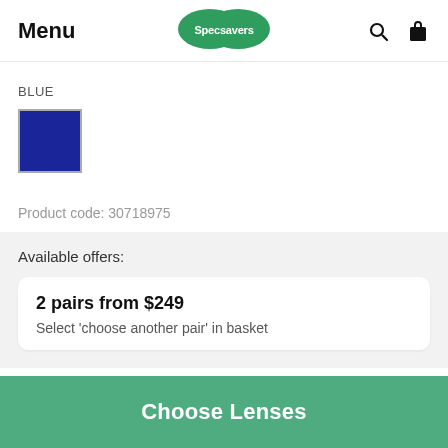Menu | Specsavers
BLUE
[Figure (other): Blue color swatch — a solid navy/dark blue square with a grey border indicating the selected color option]
Product code: 30718975
Available offers:
2 pairs from $249
Select 'choose another pair' in basket
Choose Lenses